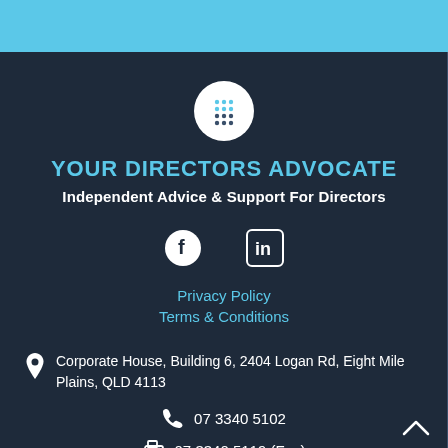[Figure (logo): Circular logo icon with dot grid pattern on white background]
YOUR DIRECTORS ADVOCATE
Independent Advice & Support For Directors
[Figure (illustration): Social media icons: Facebook and LinkedIn]
Privacy Policy
Terms & Conditions
Corporate House, Building 6, 2404 Logan Rd, Eight Mile Plains, QLD 4113
07 3340 5102
07 3340 5119 (Fax)